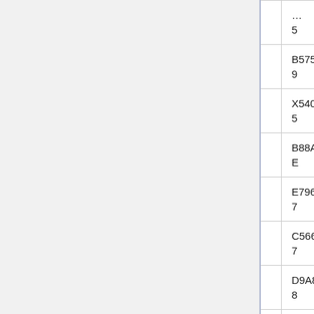| ID | Name | Code | Description |
| --- | --- | --- | --- |
| 0221 | Mater Nova | B575744-9 | Ag Pi |
| 0222 | Breslow | X540510-5 | De He Ni Po Fo |
| 0223 | Daumier | B88A452-E | Ni Wa |
| 0224 | Adapam | E796442-7 | Ni Pa |
| 0226 | Wroclaw (De 0226) | C5667BF-7 | Ag Ri |
| 0228 | Rimkuku | D9A8872-8 | Fl Ph |
| 0229 | Aziziyah | C86A475-B | Ni Wa |
| 0327 | Barbary | C5717CF-5 | He Pi |
| ... | ... | C649220- | ... |